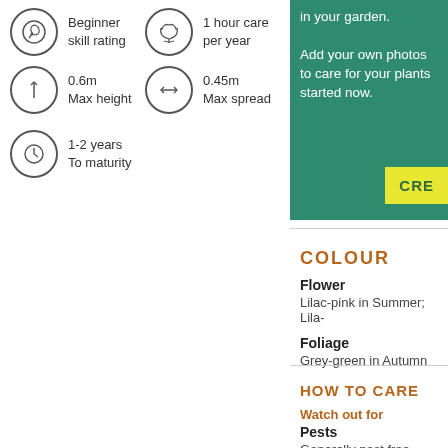Beginner skill rating
1 hour care per year
0.6m Max height
0.45m Max spread
1-2 years To maturity
Add your own photos to care for your plants started now.
CRE
COLOUR
Flower
Lilac-pink in Summer; Lila-
Foliage
Grey-green in Autumn
HOW TO CARE
Watch out for
Pests
Generally pest free